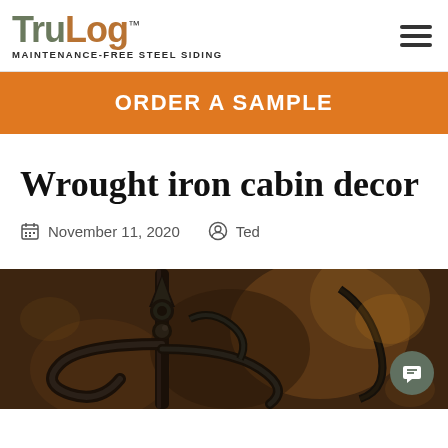TruLog™ MAINTENANCE-FREE STEEL SIDING
ORDER A SAMPLE
Wrought iron cabin decor
November 11, 2020  Ted
[Figure (photo): Close-up photograph of wrought iron decorative metalwork, showing dark ornamental ironwork with a pointed finial and curved scroll elements, with warm bokeh background]